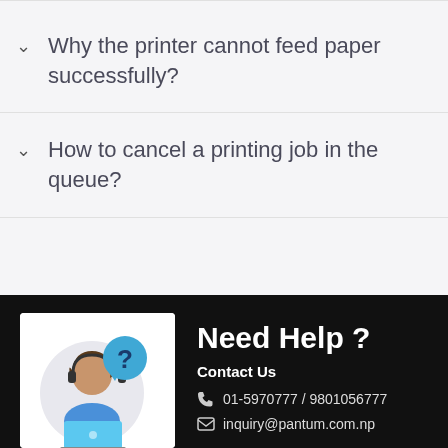Why the printer cannot feed paper successfully?
How to cancel a printing job in the queue?
[Figure (illustration): Customer support agent illustration: a person with headphones sitting at a laptop with a blue speech bubble containing a question mark]
Need Help ?
Contact Us
01-5970777 / 9801056777
inquiry@pantum.com.np